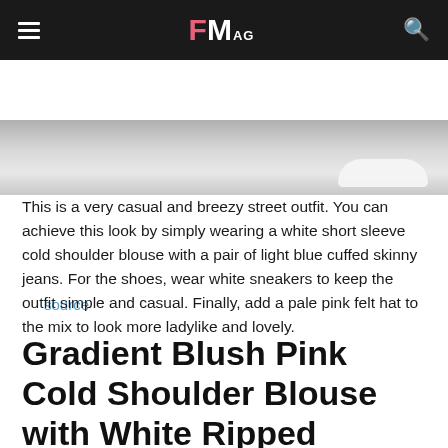FM AG
[Figure (photo): Partial view of a street outfit photo showing what appears to be a white sneaker on a textured light surface, cropped at the bottom of the image frame.]
source
This is a very casual and breezy street outfit. You can achieve this look by simply wearing a white short sleeve cold shoulder blouse with a pair of light blue cuffed skinny jeans. For the shoes, wear white sneakers to keep the outfit simple and casual. Finally, add a pale pink felt hat to the mix to look more ladylike and lovely.
Gradient Blush Pink Cold Shoulder Blouse with White Ripped Cropped Jeans